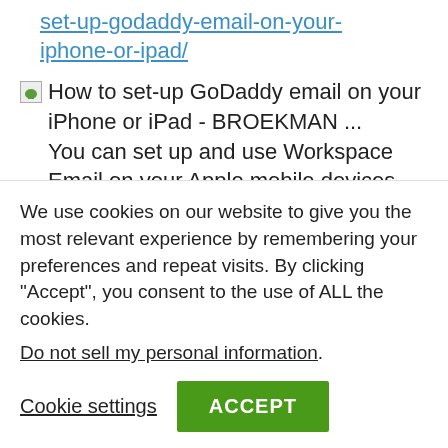set-up-godaddy-email-on-your-iphone-or-ipad/
[Figure (screenshot): Broken image thumbnail for 'How to set-up GoDaddy email on your iPhone or iPad - BROEKMAN ...' followed by description text: 'You can set up and use Workspace Email on your Apple mobile devices, ... Under New Account, enter your Mail Server Settings from the Email Setup Center.']
We use cookies on our website to give you the most relevant experience by remembering your preferences and repeat visits. By clicking “Accept”, you consent to the use of ALL the cookies.
Do not sell my personal information.
Cookie settings
ACCEPT